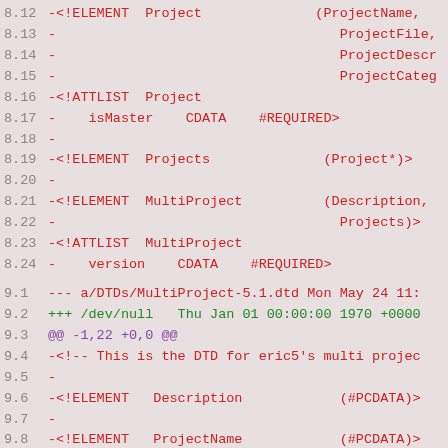8.12  -<!ELEMENT  Project              (ProjectName,
8.13  -                                   ProjectFile,
8.14  -                                   ProjectDescr
8.15  -                                   ProjectCateg
8.16  -<!ATTLIST  Project
8.17  -    isMaster    CDATA    #REQUIRED>
8.18  -
8.19  -<!ELEMENT  Projects              (Project*)>
8.20  -
8.21  -<!ELEMENT  MultiProject           (Description,
8.22  -                                   Projects)>
8.23  -<!ATTLIST  MultiProject
8.24  -    version    CDATA    #REQUIRED>
9.1   --- a/DTDs/MultiProject-5.1.dtd Mon May 24 11:
9.2   +++ /dev/null   Thu Jan 01 00:00:00 1970 +0000
9.3   @@ -1,22 +0,0 @@
9.4   -<!-- This is the DTD for eric5's multi projec
9.5   -
9.6   -<!ELEMENT   Description            (#PCDATA)>
9.7   -
9.8   -<!ELEMENT   ProjectName            (#PCDATA)>